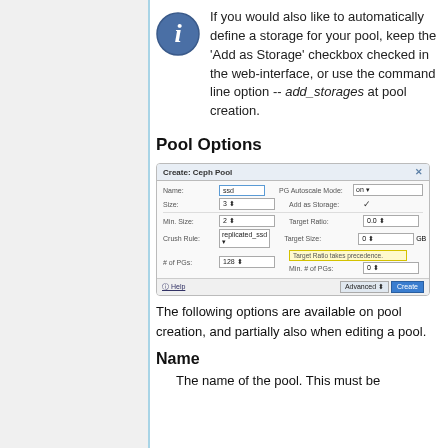If you would also like to automatically define a storage for your pool, keep the 'Add as Storage' checkbox checked in the web-interface, or use the command line option -- add_storages at pool creation.
Pool Options
[Figure (screenshot): Create Ceph Pool dialog with fields: Name (ssd), Size (3), PG Autoscale Mode (on), Add as Storage (checked), Min. Size (2), Target Ratio (0.0), Crush Rule (replicated_ssd), Target Size (0 GB), # of PGs (128), Target Ratio takes precedence warning, Min. # of PGs (0). Footer with Help, Advanced, Create buttons.]
The following options are available on pool creation, and partially also when editing a pool.
Name
The name of the pool. This must be